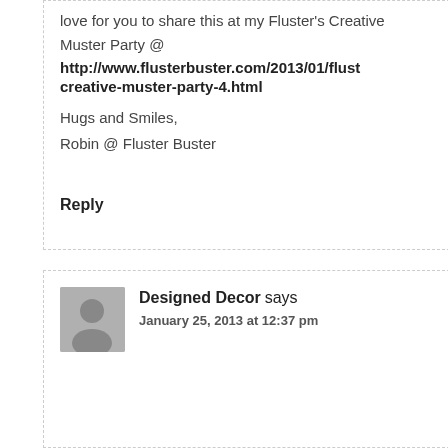love for you to share this at my Fluster's Creative Muster Party @ http://www.flusterbuster.com/2013/01/flustercreative-muster-party-4.html
Hugs and Smiles,
Robin @ Fluster Buster
Reply
Designed Decor says
January 25, 2013 at 12:37 pm